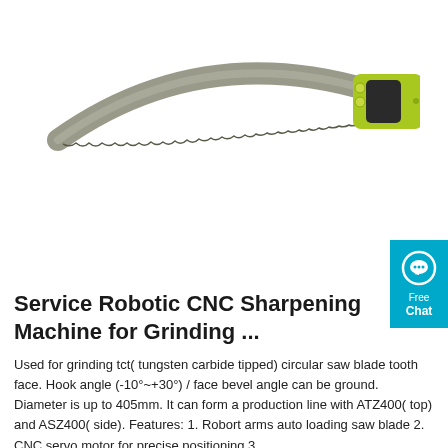[Figure (photo): A curved pruning hand saw with a serrated gray blade and a lime green and black ergonomic handle, shown against a white background.]
[Figure (infographic): Cyan/teal chat widget button with a speech bubble icon and text 'Free Chat'.]
Service Robotic CNC Sharpening Machine for Grinding ...
Used for grinding tct( tungsten carbide tipped) circular saw blade tooth face. Hook angle (-10°~+30°) / face bevel angle can be ground. Diameter is up to 405mm. It can form a production line with ATZ400( top) and ASZ400( side). Features: 1. Robort arms auto loading saw blade 2. CNC servo motor for precise positioning 3.